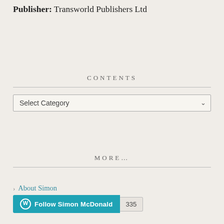Publisher: Transworld Publishers Ltd
CONTENTS
Select Category
MORE…
About Simon
Follow Simon McDonald  335